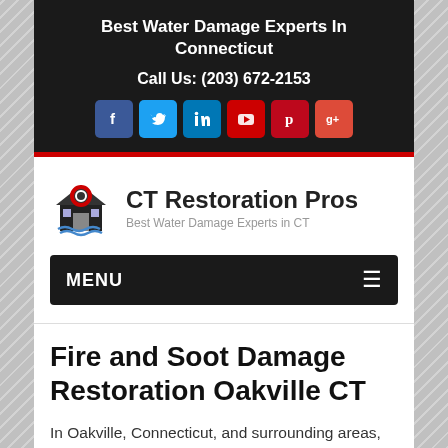Best Water Damage Experts In Connecticut
Call Us: (203) 672-2153
[Figure (infographic): Social media icons row: Facebook, Twitter, LinkedIn, YouTube, Pinterest, Google+]
[Figure (logo): CT Restoration Pros logo with house and water imagery]
CT Restoration Pros
Best Water Damage Experts in CT
MENU
Fire and Soot Damage Restoration Oakville CT
In Oakville, Connecticut, and surrounding areas, you can receive fire damage restoration services 24 hours a